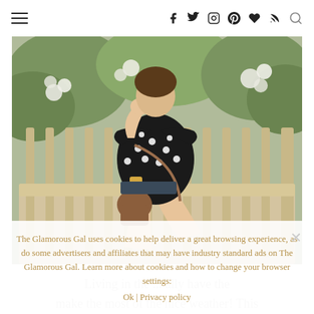Navigation bar with hamburger menu, social icons (Facebook, Twitter, Instagram, Pinterest, Heart, RSS) and search
[Figure (photo): Woman in black and white polka dot off-shoulder top and denim shorts sitting on a wooden bench outdoors, holding a brown crossbody bag, surrounded by greenery and white flowers]
The Glamorous Gal uses cookies to help deliver a great browsing experience, as do some advertisers and affiliates that may have industry standard ads on The Glamorous Gal. Learn more about cookies and how to change your browser settings:
Ok | Privacy policy
Living in the ... ally have the make the most of the nice weather! This